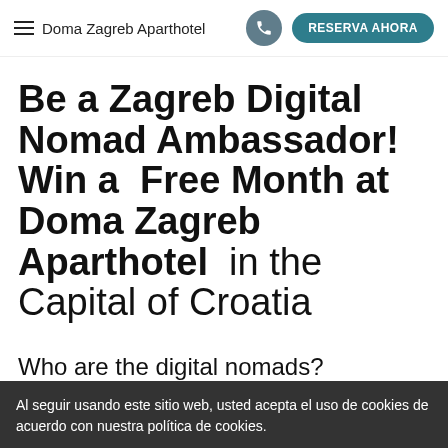≡  Doma Zagreb Aparthotel  [phone]  RESERVA AHORA
Be a Zagreb Digital Nomad Ambassador!  Win a  Free Month at Doma Zagreb Aparthotel  in the Capital of Croatia
Who are the digital nomads?
Al seguir usando este sitio web, usted acepta el uso de cookies de acuerdo con nuestra política de cookies.